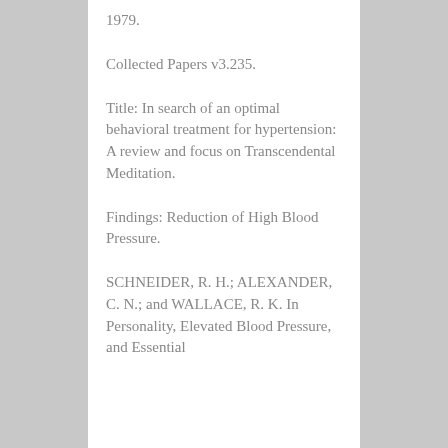1979.
Collected Papers v3.235.
Title: In search of an optimal behavioral treatment for hypertension: A review and focus on Transcendental Meditation.
Findings: Reduction of High Blood Pressure.
SCHNEIDER, R. H.; ALEXANDER, C. N.; and WALLACE, R. K. In Personality, Elevated Blood Pressure, and Essential